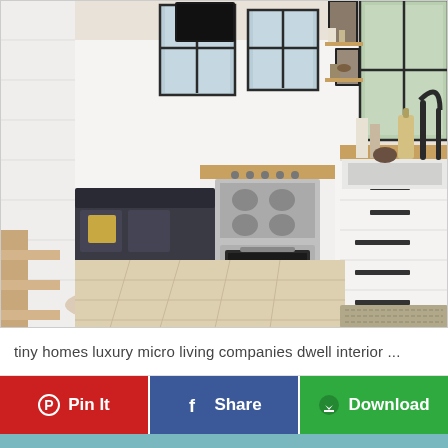[Figure (photo): Interior photo of a tiny home luxury kitchen with white cabinets, stainless steel range/oven, wood countertops, farmhouse sink, light wood floors, open shelving with decorative items, black-framed windows, and a small living area with dark sofa visible in background.]
tiny homes luxury micro living companies dwell interior ...
Pin It | Share | Download